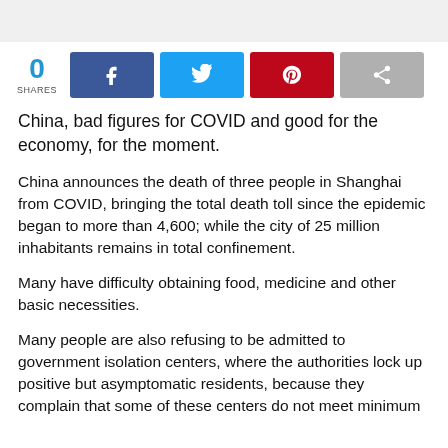China, bad figures for COVID and good for the economy, for the moment.
China announces the death of three people in Shanghai from COVID, bringing the total death toll since the epidemic began to more than 4,600; while the city of 25 million inhabitants remains in total confinement.
Many have difficulty obtaining food, medicine and other basic necessities.
Many people are also refusing to be admitted to government isolation centers, where the authorities lock up positive but asymptomatic residents, because they complain that some of these centers do not meet minimum